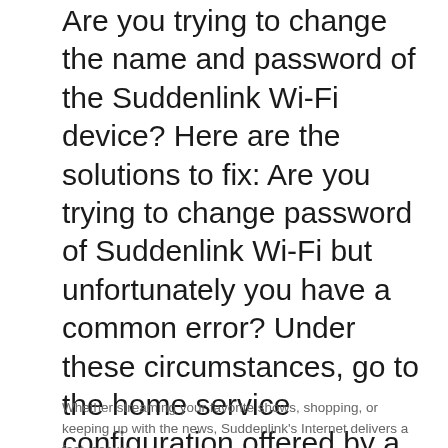Are you trying to change the name and password of the Suddenlink Wi-Fi device? Here are the solutions to fix: Are you trying to change password of Suddenlink Wi-Fi but unfortunately you have a common error? Under these circumstances, go to the home service configuration offered by a wireless cable modem and a router that connect multiple PCs to the Internet service, while providing an
Whether streaming your favorite shows, shopping, or keeping up with the news, Suddenlink's Internet delivers a fast, secure,